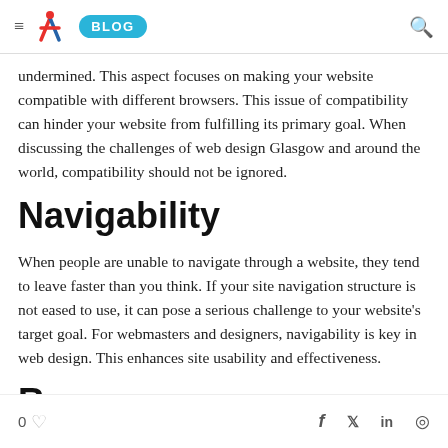≡ [logo] BLOG [search]
undermined. This aspect focuses on making your website compatible with different browsers. This issue of compatibility can hinder your website from fulfilling its primary goal. When discussing the challenges of web design Glasgow and around the world, compatibility should not be ignored.
Navigability
When people are unable to navigate through a website, they tend to leave faster than you think. If your site navigation structure is not eased to use, it can pose a serious challenge to your website's target goal. For webmasters and designers, navigability is key in web design. This enhances site usability and effectiveness.
Re...
0 ♡   f  🐦  in  ◎